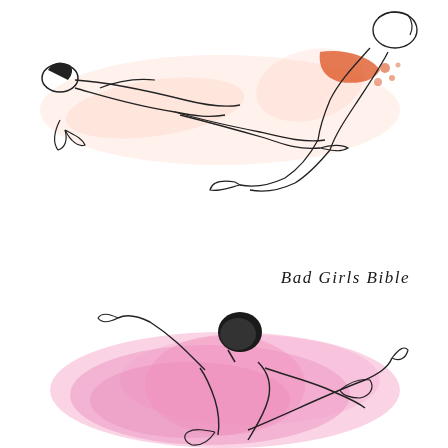[Figure (illustration): Line drawing illustration of two reclining figures in an intimate pose, one figure with orange/red accents on clothing, both rendered with minimal pink wash watercolor fill on a white background]
Bad Girls Bible
[Figure (illustration): Line drawing illustration of a figure with dark hair sitting in an intimate pose with another figure, rendered with a large pink/magenta watercolor wash background splash]